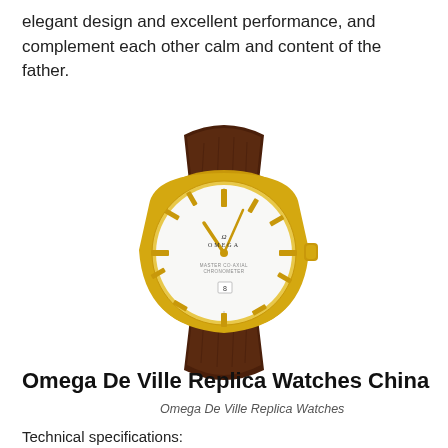elegant design and excellent performance, and complement each other calm and content of the father.
[Figure (photo): Omega De Ville watch with gold case and brown leather strap, white dial, viewed from front]
Omega De Ville Replica Watches
Omega De Ville Replica Watches China
Technical specifications: